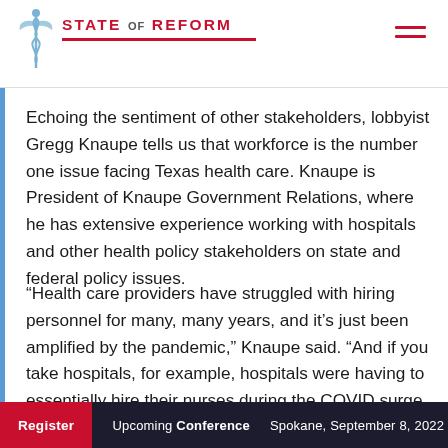STATE OF REFORM
Echoing the sentiment of other stakeholders, lobbyist Gregg Knaupe tells us that workforce is the number one issue facing Texas health care. Knaupe is President of Knaupe Government Relations, where he has extensive experience working with hospitals and other health policy stakeholders on state and federal policy issues.
“Health care providers have struggled with hiring personnel for many, many years, and it’s just been amplified by the pandemic,” Knaupe said. “And if you take hospitals, for example, hospitals were having to essentially hire their nurses during the COVID surge from nurse staffing agencies for three, four times the [pay] per hour, and it’s just not sustainable. Same thing with home care.” He is optimistic that lawmakers will
Register   Upcoming Conference   Spokane, September 8, 2022